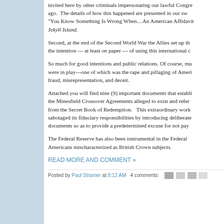invited here by other criminals impersonating our lawful Congre... ago.  The details of how this happened are presented in our sw... "You Know Something Is Wrong When....An American Affidavit... Jekyll Island.
Second, at the end of the Second World War the Allies set up th... the intention --- at least on paper --- of using this international c...
So much for good intentions and public relations. Of course, mu... were in play---one of which was the rape and pillaging of Ameri... fraud, misrepresentation, and deceit.
Attached you will find nine (9) important documents that establi... the Minesfield Crossover Agreements alleged to exist and refer... from the Secret Book of Redemption.   This extraordinary work sabotaged its fiduciary responsibilities by introducing deliberate... documents so as to provide a predetermined excuse for not pay...
The Federal Reserve has also been instrumental in the Federal... Americans mischaracterized as British Crown subjects.
READ MORE AND COMMENT »
Posted by Paul Stramer at 8:12 AM   4 comments: